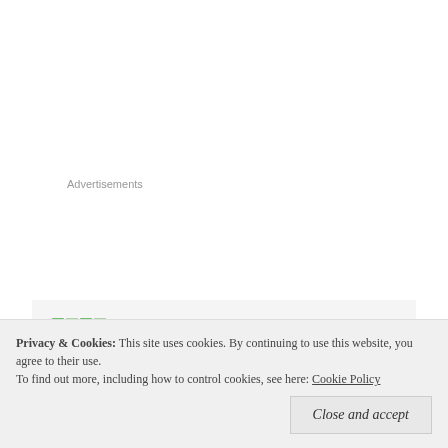Advertisements
[Figure (other): Green pixel-art avatar icon for commenter Remona Havis]
Remona Havis   February 8, 2014 at 1:05 AM
I'm extremely inspired along with your writing abilities as neatly as with the format for your weblog. Is this a paid topic or did you modify it yourself? Either way stay up the excellent quality writing, it is rare to see a nice blog like this
Privacy & Cookies:  This site uses cookies. By continuing to use this website, you agree to their use.
To find out more, including how to control cookies, see here: Cookie Policy
Close and accept